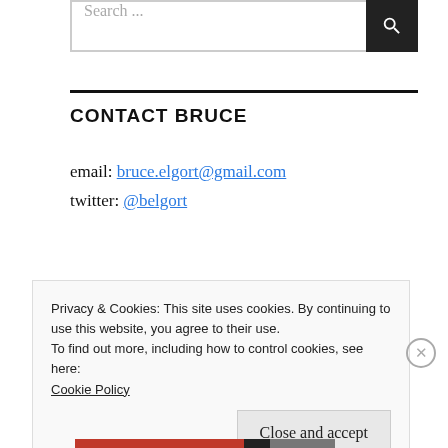[Figure (screenshot): Search bar with text input showing 'Search ...' placeholder and a black search button with magnifying glass icon]
CONTACT BRUCE
email: bruce.elgort@gmail.com
twitter: @belgort
Privacy & Cookies: This site uses cookies. By continuing to use this website, you agree to their use.
To find out more, including how to control cookies, see here:
Cookie Policy
Close and accept